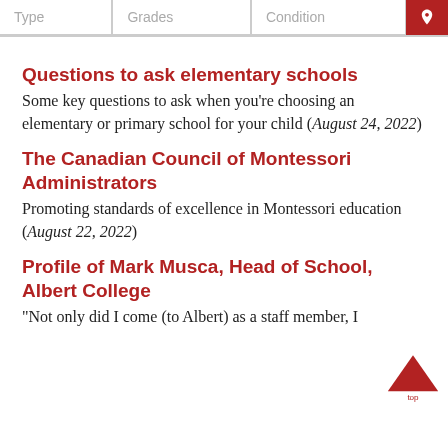| Type | Grades | Condition |  |
| --- | --- | --- | --- |
|  |
Questions to ask elementary schools
Some key questions to ask when you're choosing an elementary or primary school for your child (August 24, 2022)
The Canadian Council of Montessori Administrators
Promoting standards of excellence in Montessori education (August 22, 2022)
Profile of Mark Musca, Head of School, Albert College
“Not only did I come (to Albert) as a staff member, I